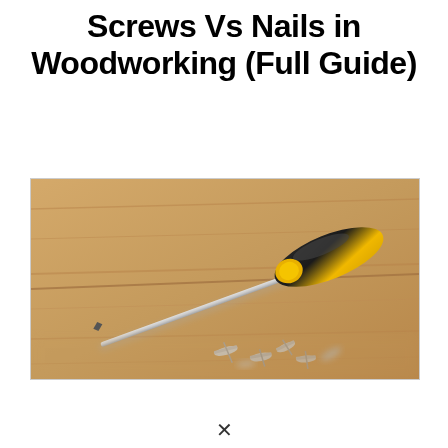Screws Vs Nails in Woodworking (Full Guide)
[Figure (photo): A screwdriver with a black and yellow handle lying diagonally on a light wood surface, with several small silver screws scattered in the foreground at the bottom center-right.]